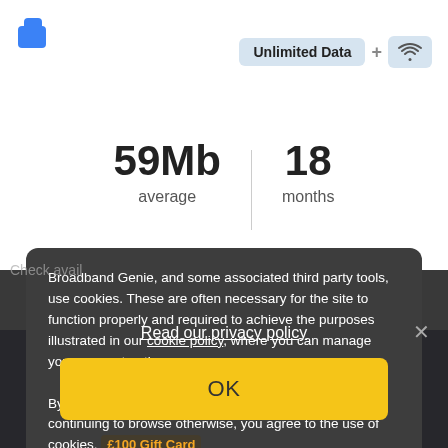[Figure (logo): Partial blue logo visible at top left]
Unlimited Data
59Mb
average
18
months
Broadband Genie, and some associated third party tools, use cookies. These are often necessary for the site to function properly and required to achieve the purposes illustrated in our cookie policy, where you can manage your consent options.

By clicking "OK", closing this banner, clicking a link or continuing to browse otherwise, you agree to the use of cookies.
Read our privacy policy
OK